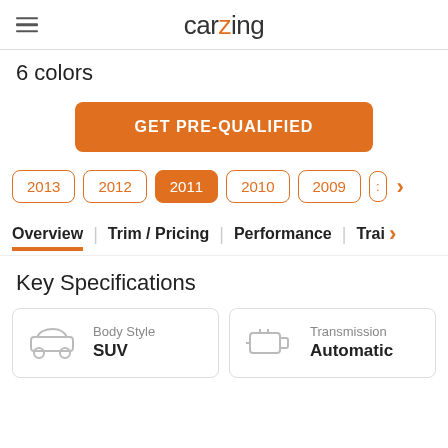carzing
6 colors
GET PRE-QUALIFIED
2013  2012  2011  2010  2009
Overview | Trim / Pricing | Performance | Tra…
Key Specifications
| Icon | Label | Value |
| --- | --- | --- |
| SUV icon | Body Style | SUV |
| Transmission icon | Transmission | Automatic |